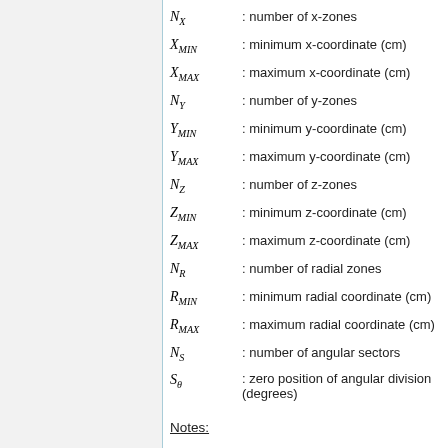N_X : number of x-zones
X_MIN : minimum x-coordinate (cm)
X_MAX : maximum x-coordinate (cm)
N_Y : number of y-zones
Y_MIN : minimum y-coordinate (cm)
Y_MAX : maximum y-coordinate (cm)
N_Z : number of z-zones
Z_MIN : minimum z-coordinate (cm)
Z_MAX : maximum z-coordinate (cm)
N_R : number of radial zones
R_MIN : minimum radial coordinate (cm)
R_MAX : maximum radial coordinate (cm)
N_S : number of angular sectors
S_theta : zero position of angular division (degrees)
Notes: